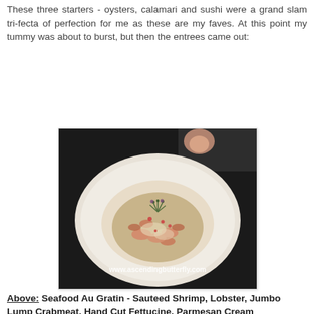These three starters - oysters, calamari and sushi were a grand slam tri-fecta of perfection for me as these are my faves. At this point my tummy was about to burst, but then the entrees came out:
[Figure (photo): A plate of Seafood Au Gratin - a shallow white bowl containing sauteed shrimp, lobster, jumbo lump crabmeat, hand cut fettucine in parmesan cream, garnished with fresh herbs. Watermark: www.ascendingbutterfly.com]
Above: Seafood Au Gratin - Sauteed Shrimp, Lobster, Jumbo Lump Crabmeat, Hand Cut Fettucine, Parmesan Cream
This is literally Seafood 'Comfort Food' at it's absolute finest! Creamy, Cheesy, Delicious, Goodness!